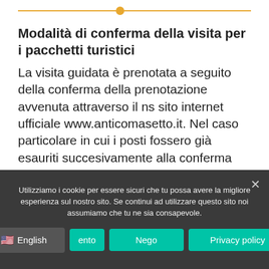Modalità di conferma della visita per i pacchetti turistici
La visita guidata è prenotata a seguito della conferma della prenotazione avvenuta attraverso il ns sito internet ufficiale www.anticomasetto.it. Nel caso particolare in cui i posti fossero già esauriti succesivamente alla conferma della prenotazione, la prenotazione può essere annullata senza alcuna penale.
Utilizziamo i cookie per essere sicuri che tu possa avere la migliore esperienza sul nostro sito. Se continui ad utilizzare questo sito noi assumiamo che tu ne sia consapevole.